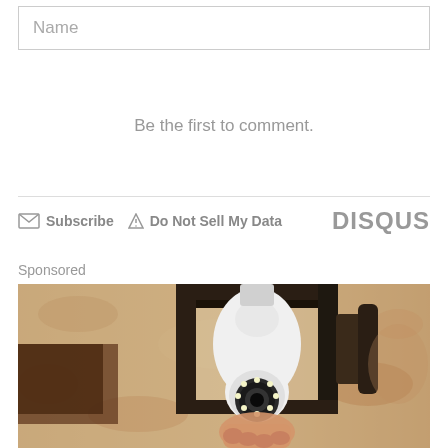Name
Be the first to comment.
Subscribe  Do Not Sell My Data  DISQUS
Sponsored
[Figure (photo): A light bulb security camera installed inside an outdoor wall lantern fixture mounted on a textured stucco wall. A hand is holding the bulb-shaped camera device which has LED lights around the lens at the bottom.]